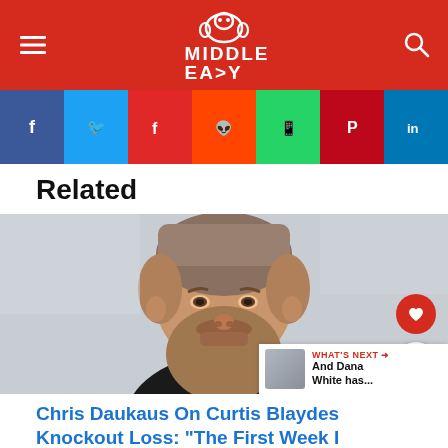Middle Easy
[Figure (infographic): Social share bar with Facebook, Twitter, Flipboard, Reddit, WhatsApp, Pinterest, LinkedIn icons]
Related
[Figure (photo): Close-up portrait of a bearded man (Chris Daukaus) with a fade haircut, looking upward against a light background. Red heart FAB and white share FAB on the right side. 'WHAT'S NEXT' banner at bottom right.]
Chris Daukaus On Curtis Blaydes Knockout Loss: “The First Week I Wanted To Kill Myself”